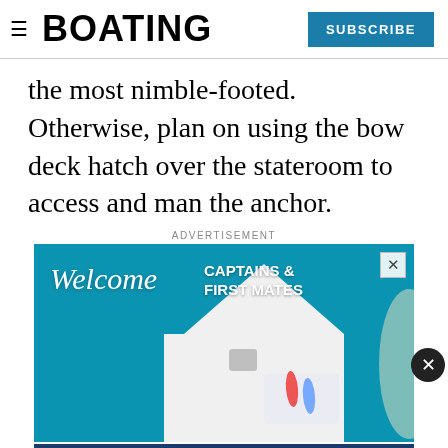BOATING  SUBSCRIBE
the most nimble-footed. Otherwise, plan on using the bow deck hatch over the stateroom to access and man the anchor.
ADVERTISEMENT
[Figure (photo): Advertisement image showing aerial view of a white boat on turquoise water with two people sunbathing on deck. Text reads: 'Welcome CAPTAINS & FIRST MATES'. A close (X) button appears in top right corner.]
[Figure (photo): GEICO advertisement banner: 'OFFSEASON PROTECTION FOR YOUR BOAT' with a boat graphic and GEICO FOR YOUR BOAT logo on dark blue background. Partly visible 'LAUDERDALE' text at bottom.]